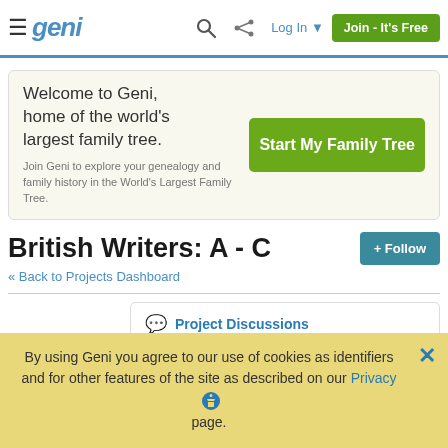≡ geni  🔍  ⋘  Log In ▾  Join - It's Free
Welcome to Geni, home of the world's largest family tree.
Join Geni to explore your genealogy and family history in the World's Largest Family Tree.
Start My Family Tree
British Writers: A - C
+ Follow
« Back to Projects Dashboard
Project Discussions
220 Project Profiles
By using Geni you agree to our use of cookies as identifiers and for other features of the site as described on our Privacy page.